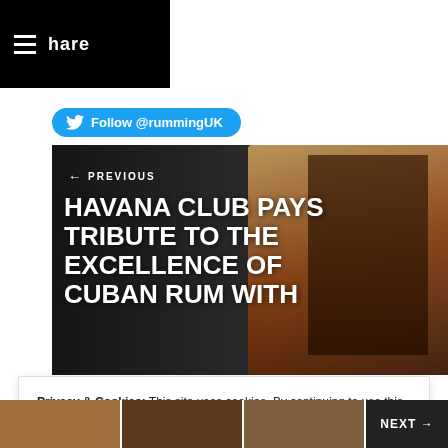hare
Follow @rummingUK
[Figure (photo): Article preview image for Havana Club rum article showing a dark rum bottle and box on a dark background with text 'HAVANA CLUB PAYS TRIBUTE TO THE EXCELLENCE OF CUBAN RUM WITH' overlaid. Navigation label 'PREVIOUS' visible at top left.]
HAVANA CLUB PAYS TRIBUTE TO THE EXCELLENCE OF CUBAN RUM WITH
Privacy & Cookies: This site uses cookies. By continuing to use this website, you agree to their use.
To find out more, including how to control cookies, see here: Cookie Policy
Close and accept